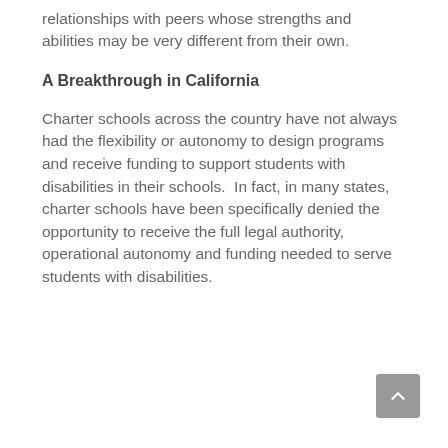relationships with peers whose strengths and abilities may be very different from their own.
A Breakthrough in California
Charter schools across the country have not always had the flexibility or autonomy to design programs and receive funding to support students with disabilities in their schools.  In fact, in many states, charter schools have been specifically denied the opportunity to receive the full legal authority, operational autonomy and funding needed to serve students with disabilities.